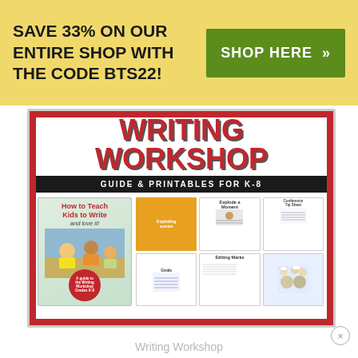SAVE 33% ON OUR ENTIRE SHOP WITH THE CODE BTS22!
SHOP HERE »
[Figure (illustration): Writing Workshop product cover showing large red bold title 'WRITING WORKSHOP', subtitle 'GUIDE & PRINTABLES FOR K-8', book cover 'How to Teach Kids to Write and love it', and various printable worksheets including 'Explode a Moment', 'Editing Marks', 'Goals' cards]
Writing Workshop